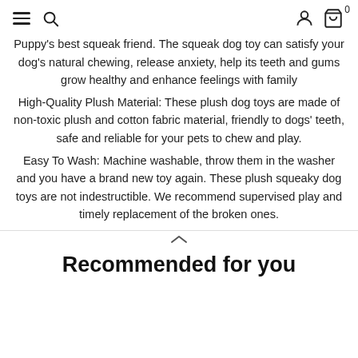Navigation header with hamburger menu, search icon, user icon, and cart icon with badge 0
Puppy's best squeak friend. The squeak dog toy can satisfy your dog's natural chewing, release anxiety, help its teeth and gums grow healthy and enhance feelings with family
High-Quality Plush Material: These plush dog toys are made of non-toxic plush and cotton fabric material, friendly to dogs' teeth, safe and reliable for your pets to chew and play.
Easy To Wash: Machine washable, throw them in the washer and you have a brand new toy again. These plush squeaky dog toys are not indestructible. We recommend supervised play and timely replacement of the broken ones.
Recommended for you